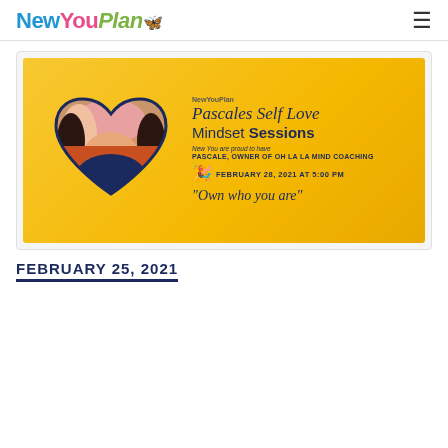NewYouPlan
[Figure (illustration): Promotional banner for Pascales Self Love Mindset Sessions. Yellow/gold background with a woman with pink and blonde hair in a heart-shaped frame on the left. Text on the right reads: Pascales Self Love Mindset Sessions, New You are proud to have PASCALE, OWNER OF OH LA LA MIND COACHING, FEBRUARY 28, 2021 AT 5:00 PM, 'Own who you are']
FEBRUARY 25, 2021